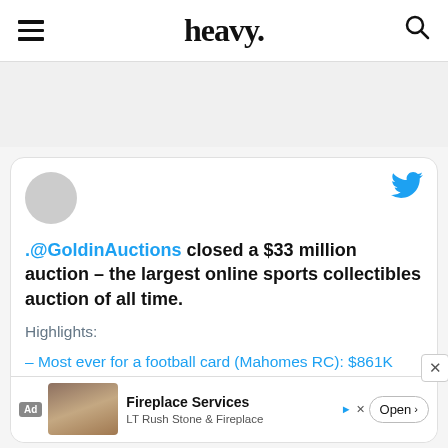heavy.
[Figure (screenshot): Tweet card from @GoldinAuctions about $33 million auction with Twitter bird icon and user avatar. Contains tweet text and highlights about auction records.]
.@GoldinAuctions closed a $33 million auction – the largest online sports collectibles auction of all time.
Highlights:
– Most ever for a football card (Mahomes RC): $861K
– Most ever for MJ RC: $738K
[Figure (screenshot): Ad banner for Fireplace Services by LT Rush Stone & Fireplace with an Open button]